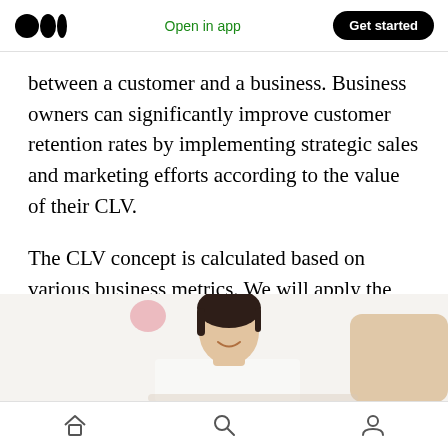Medium app header with logo, Open in app, Get started
between a customer and a business. Business owners can significantly improve customer retention rates by implementing strategic sales and marketing efforts according to the value of their CLV.
The CLV concept is calculated based on various business metrics. We will apply the CLV model from an annual perspective.
[Figure (photo): Photo of a smiling woman with dark hair against a light background]
Bottom navigation bar with home, search, and profile icons